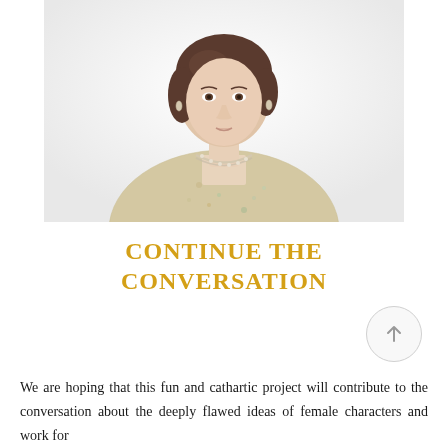[Figure (photo): Portrait photo of a middle-aged woman with short dark hair, wearing a floral beige blouse and pearl necklace, photographed against a white/light grey background.]
CONTINUE THE CONVERSATION
We are hoping that this fun and cathartic project will contribute to the conversation about the deeply flawed ideas of female characters and work for